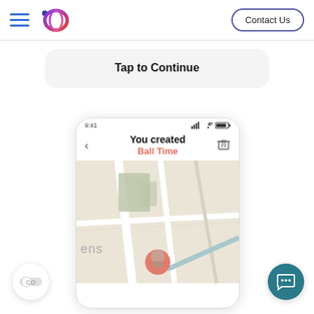Contact Us
Tap to Continue
[Figure (screenshot): Mobile app screenshot showing 'You created Ball Time' with a map view, a user avatar pin, back arrow, delete button, and status bar showing 9:41]